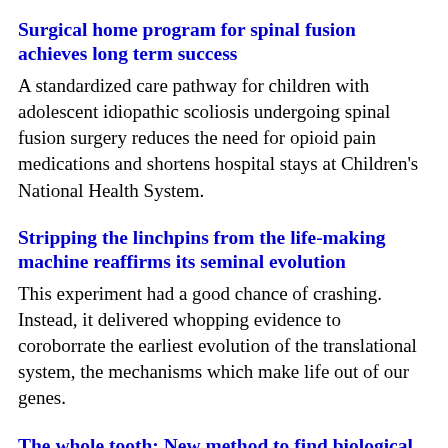Surgical home program for spinal fusion achieves long term success
A standardized care pathway for children with adolescent idiopathic scoliosis undergoing spinal fusion surgery reduces the need for opioid pain medications and shortens hospital stays at Children's National Health System.
Stripping the linchpins from the life-making machine reaffirms its seminal evolution
This experiment had a good chance of crashing. Instead, it delivered whopping evidence to coroborrate the earliest evolution of the translational system, the mechanisms which make life out of our genes.
The whole tooth: New method to find biological sex from a single tooth
A team led by UC Davis researchers have come up with a